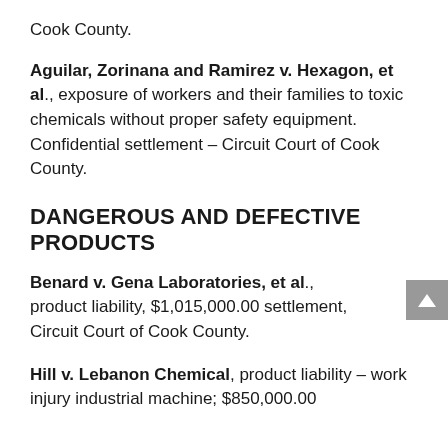Cook County.
Aguilar, Zorinana and Ramirez v. Hexagon, et al., exposure of workers and their families to toxic chemicals without proper safety equipment. Confidential settlement – Circuit Court of Cook County.
DANGEROUS AND DEFECTIVE PRODUCTS
Benard v. Gena Laboratories, et al., product liability, $1,015,000.00 settlement, Circuit Court of Cook County.
Hill v. Lebanon Chemical, product liability – work injury industrial machine; $850,000.00